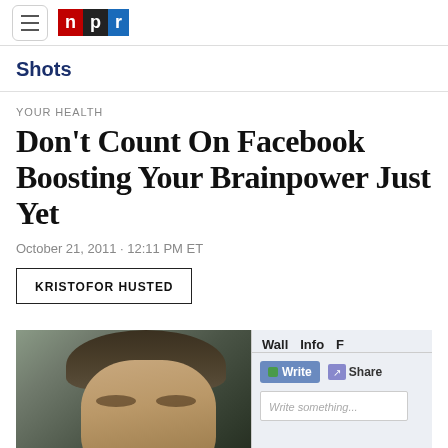NPR
Shots
YOUR HEALTH
Don't Count On Facebook Boosting Your Brainpower Just Yet
October 21, 2011 · 12:11 PM ET
KRISTOFOR HUSTED
[Figure (photo): Photo of Mark Zuckerberg alongside a Facebook wall interface showing Wall, Info tabs and Write/Share buttons with a 'Write something...' input box]